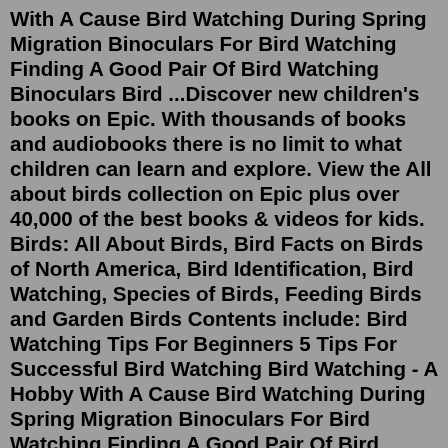With A Cause Bird Watching During Spring Migration Binoculars For Bird Watching Finding A Good Pair Of Bird Watching Binoculars Bird ...Discover new children's books on Epic. With thousands of books and audiobooks there is no limit to what children can learn and explore. View the All about birds collection on Epic plus over 40,000 of the best books & videos for kids. Birds: All About Birds, Bird Facts on Birds of North America, Bird Identification, Bird Watching, Species of Birds, Feeding Birds and Garden Birds Contents include: Bird Watching Tips For Beginners 5 Tips For Successful Bird Watching Bird Watching - A Hobby With A Cause Bird Watching During Spring Migration Binoculars For Bird Watching Finding A Good Pair Of Bird Watching Binoculars Bird ...The Birds of America is a book by naturalist and painter John James Audubon, containing illustrations of a wide variety of birds of the United States.It was first published as a series in sections between 1827 and 1838, in Edinburgh and London. Not all of the